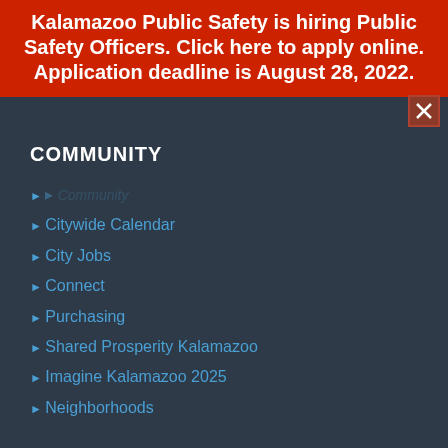Kalamazoo Public Safety is hiring Public Safety Officers. Click here to apply online. Application deadline is August 28, 2022.
COMMUNITY
Citywide Calendar
City Jobs
Connect
Purchasing
Shared Prosperity Kalamazoo
Imagine Kalamazoo 2025
Neighborhoods
LOCAL GOVERNMENT
City Commission
Boards & Commissions
City Charter
Code of Ordinances